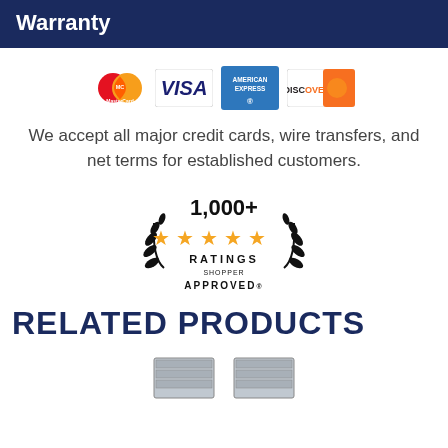Warranty
[Figure (logo): Payment method logos: MasterCard, VISA, American Express, Discover]
We accept all major credit cards, wire transfers, and net terms for established customers.
[Figure (infographic): 1,000+ Ratings badge with five gold stars and Shopper Approved seal]
RELATED PRODUCTS
[Figure (photo): Product image at bottom of page (partially visible)]